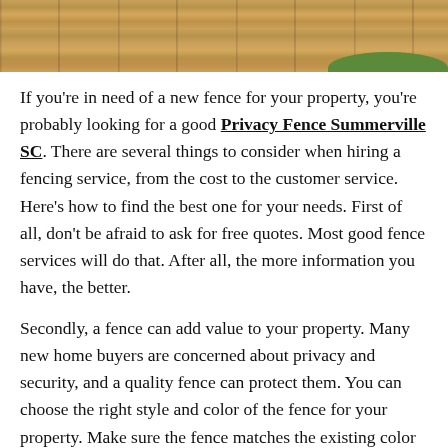[Figure (photo): Close-up photograph of wooden privacy fence panels, brown/tan colored wood, with green grass visible in the upper right corner]
If you're in need of a new fence for your property, you're probably looking for a good Privacy Fence Summerville SC. There are several things to consider when hiring a fencing service, from the cost to the customer service. Here's how to find the best one for your needs. First of all, don't be afraid to ask for free quotes. Most good fence services will do that. After all, the more information you have, the better.
Secondly, a fence can add value to your property. Many new home buyers are concerned about privacy and security, and a quality fence can protect them. You can choose the right style and color of the fence for your property. Make sure the fence matches the existing color scheme of your property. If you'd like to keep wild animals out of your yard, consider having a fence built to